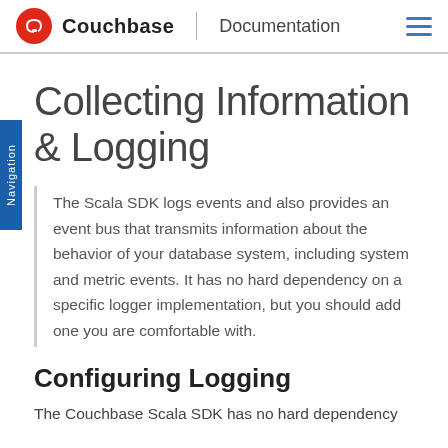Couchbase | Documentation
Collecting Information & Logging
The Scala SDK logs events and also provides an event bus that transmits information about the behavior of your database system, including system and metric events. It has no hard dependency on a specific logger implementation, but you should add one you are comfortable with.
Configuring Logging
The Couchbase Scala SDK has no hard dependency